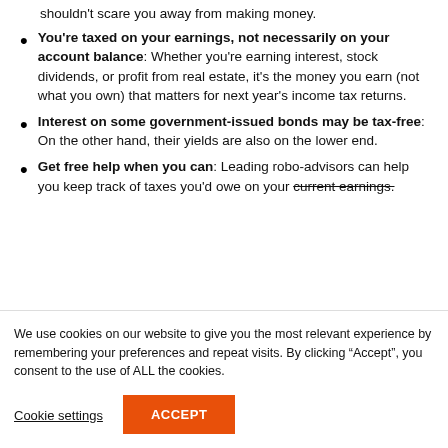shouldn't scare you away from making money.
You're taxed on your earnings, not necessarily on your account balance: Whether you're earning interest, stock dividends, or profit from real estate, it's the money you earn (not what you own) that matters for next year's income tax returns.
Interest on some government-issued bonds may be tax-free: On the other hand, their yields are also on the lower end.
Get free help when you can: Leading robo-advisors can help you keep track of taxes you'd owe on your current earnings.
We use cookies on our website to give you the most relevant experience by remembering your preferences and repeat visits. By clicking “Accept”, you consent to the use of ALL the cookies.
Cookie settings   ACCEPT